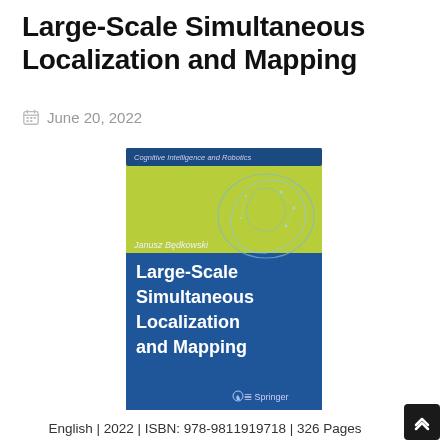Large-Scale Simultaneous Localization and Mapping
June 20, 2022
[Figure (photo): Book cover of 'Large-Scale Simultaneous Localization and Mapping' by Janusz Będkowski, published by Springer. Part of the Cognitive Intelligence and Robotics series. Cover features a blue and yellow-green design with a brain illustration.]
English | 2022 | ISBN: 978-9811919718 | 326 Pages